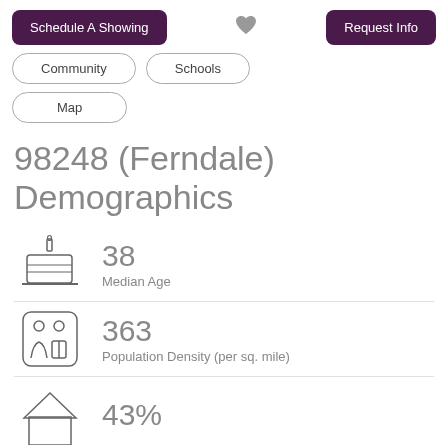Schedule A Showing | [heart] | Request Info
Community | Schools
Map
98248 (Ferndale) Demographics
38
Median Age
363
Population Density (per sq. mile)
43%